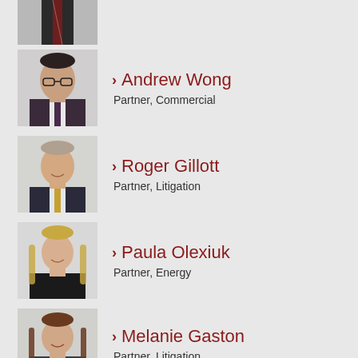[Figure (photo): Partial photo of a man in a suit with red tie, cropped at top]
[Figure (photo): Photo of Andrew Wong, a man in glasses and dark suit]
> Andrew Wong
Partner, Commercial
[Figure (photo): Photo of Roger Gillott, a man in a dark suit with gold tie]
> Roger Gillott
Partner, Litigation
[Figure (photo): Photo of Paula Olexiuk, a woman with blonde hair in dark blazer]
> Paula Olexiuk
Partner, Energy
[Figure (photo): Photo of Melanie Gaston, a woman with long brown hair]
> Melanie Gaston
Partner, Litigation